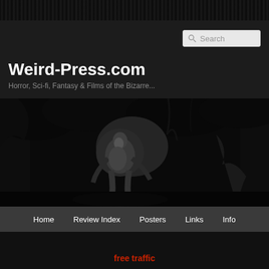Weird-Press.com
Horror, Sci-fi, Fantasy & Films of the Bizarre...
[Figure (photo): Black and white horror/fantasy film still showing a figure in a dark forest setting]
Home  Review Index  Posters  Links  Info
free traffic